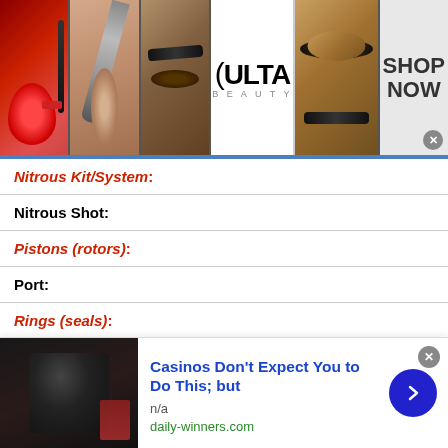[Figure (photo): ULTA beauty banner advertisement with makeup photos (lips, brush, eyes) and SHOP NOW call to action]
| Nitrous Kit/System: |  |
| Nitrous Shot: |  |
| Pistons (rotors): |  |
| Port: |  |
| Rings (seals): |  |
| Heads: | 195 canfield |
| Connecting Rods: | eagle H beam |
| Camshaft: | voodoo 60103 |
[Figure (photo): Bottom advertisement: Casinos Don't Expect You to Do This; but — daily-winners.com, with thumbnail image and arrow button]